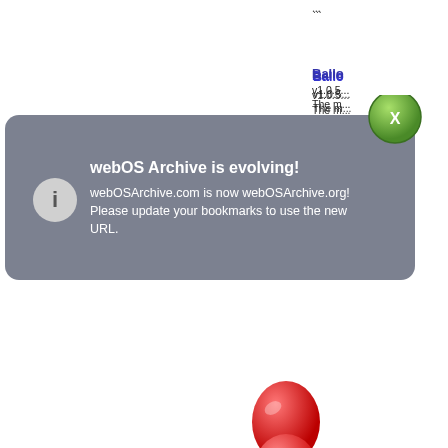...
[Figure (screenshot): Notification popup: 'webOS Archive is evolving!' with green close button and info icon. webOSArchive.com is now webOSArchive.org! Please update your bookmarks to use the new URL.]
[Figure (illustration): Red balloon icon]
Ballo
v1.0.5... The m... poppi... game... from t...
Ballo
In thi... assor... into th... Some... others... ...
[Figure (logo): BallZ logo - grey circle with orange Z letter]
BallZ
Welco... HD. Y...